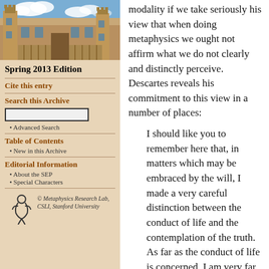[Figure (photo): Photograph of a sandstone university building with towers and courtyard under blue sky with clouds]
Spring 2013 Edition
Cite this entry
Search this Archive
Advanced Search
Table of Contents
New in this Archive
Editorial Information
About the SEP
Special Characters
[Figure (logo): Metaphysics Research Lab logo - stylized figure]
© Metaphysics Research Lab, CSLI, Stanford University
modality if we take seriously his view that when doing metaphysics we ought not affirm what we do not clearly and distinctly perceive. Descartes reveals his commitment to this view in a number of places:
I should like you to remember here that, in matters which may be embraced by the will, I made a very careful distinction between the conduct of life and the contemplation of the truth. As far as the conduct of life is concerned, I am very far from thinking that we